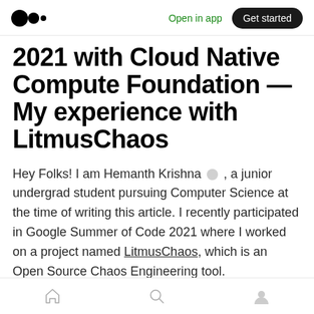Open in app  Get started
2021 with Cloud Native Compute Foundation — My experience with LitmusChaos
Hey Folks! I am Hemanth Krishna 🏳, a junior undergrad student pursuing Computer Science at the time of writing this article. I recently participated in Google Summer of Code 2021 where I worked on a project named LitmusChaos, which is an Open Source Chaos Engineering tool.
Home  Search  Profile